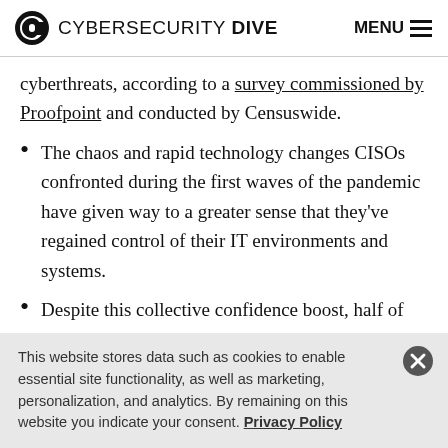CYBERSECURITY DIVE | MENU
cyberthreats, according to a survey commissioned by Proofpoint and conducted by Censuswide.
The chaos and rapid technology changes CISOs confronted during the first waves of the pandemic have given way to a greater sense that they’ve regained control of their IT environments and systems.
Despite this collective confidence boost, half of the 1,400 global CISOs surveyed said their organization
This website stores data such as cookies to enable essential site functionality, as well as marketing, personalization, and analytics. By remaining on this website you indicate your consent. Privacy Policy